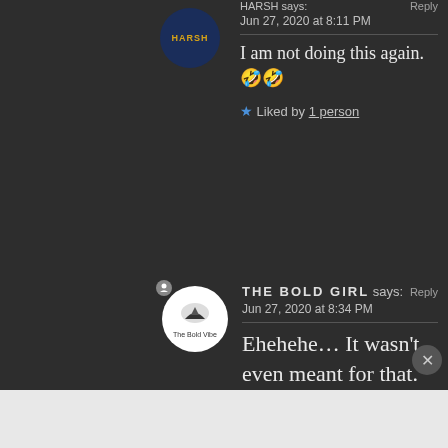HARSH says: Jun 27, 2020 at 8:11 PM
I am not doing this again. 🤣🤣
★ Liked by 1 person
THE BOLD GIRL says: Reply Jun 27, 2020 at 8:34 PM
Ehehehe… It wasn't even meant for that. But yeah, the moment I commented, I thought the same thing.😄
Advertisements
[Figure (screenshot): Day One journaling app advertisement banner with icons and text 'The only journaling app you'll ever need.']